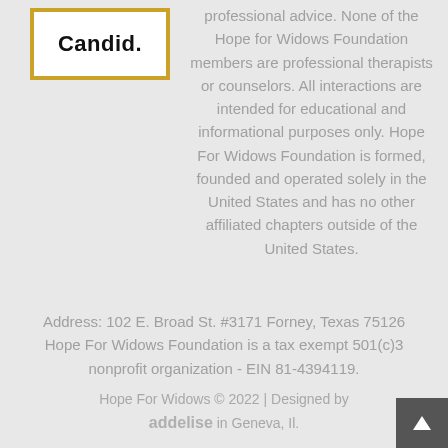[Figure (logo): Candid logo in a gold-bordered white box with bold text reading 'Candid.']
professional advice. None of the Hope for Widows Foundation members are professional therapists or counselors. All interactions are intended for educational and informational purposes only. Hope For Widows Foundation is formed, founded and operated solely in the United States and has no other affiliated chapters outside of the United States.
Address: 102 E. Broad St. #3171 Forney, Texas 75126
Hope For Widows Foundation is a tax exempt 501(c)3 nonprofit organization - EIN 81-4394119.
Hope For Widows © 2022 | Designed by addelise in Geneva, Il.